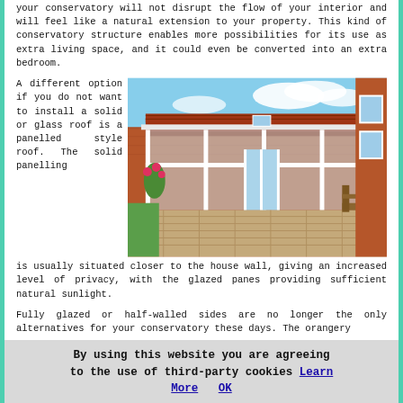your conservatory will not disrupt the flow of your interior and will feel like a natural extension to your property. This kind of conservatory structure enables more possibilities for its use as extra living space, and it could even be converted into an extra bedroom.
A different option if you do not want to install a solid or glass roof is a panelled style roof. The solid panelling is usually situated closer to the house wall, giving an increased level of privacy, with the glazed panes providing sufficient natural sunlight.
[Figure (photo): Exterior photo of a brick conservatory extension with white-framed windows and tiled roof, attached to a house, with a paved patio and garden bench visible.]
Fully glazed or half-walled sides are no longer the only alternatives for your conservatory these days. The orangery
By using this website you are agreeing to the use of third-party cookies Learn More OK